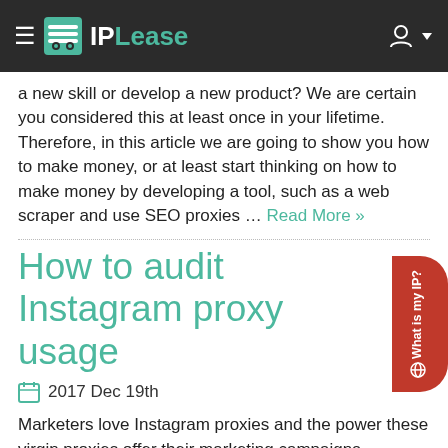IPLease
a new skill or develop a new product? We are certain you considered this at least once in your lifetime. Therefore, in this article we are going to show you how to make money, or at least start thinking on how to make money by developing a tool, such as a web scraper and use SEO proxies … Read More »
How to audit Instagram proxy usage
2017 Dec 19th
Marketers love Instagram proxies and the power these virgin proxies offer their marketing campaigns. However, Instagram proxies use needs tweaks in order for marketers to improve the success rate and increase their profitability. Therefore, we have decided to show in this article what to track and how to measure the success rate of an Instagram … Read More »